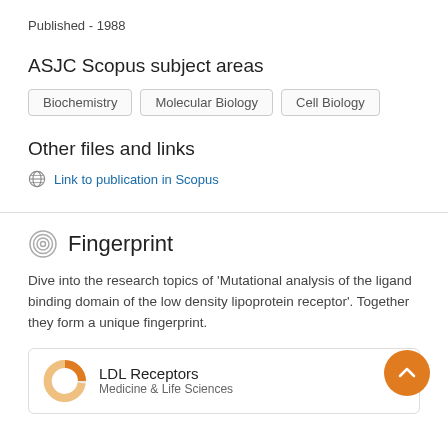Published - 1988
ASJC Scopus subject areas
Biochemistry
Molecular Biology
Cell Biology
Other files and links
Link to publication in Scopus
Fingerprint
Dive into the research topics of 'Mutational analysis of the ligand binding domain of the low density lipoprotein receptor'. Together they form a unique fingerprint.
LDL Receptors
Medicine & Life Sciences